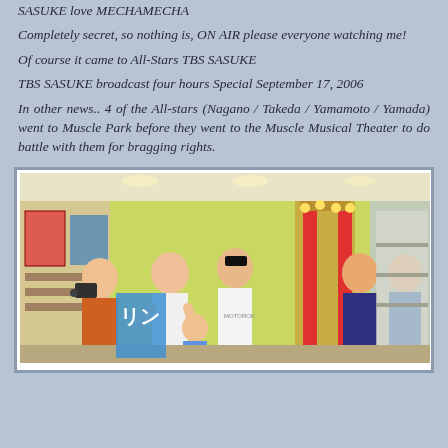SASUKE love MECHAMECHA
Completely secret, so nothing is, ON AIR please everyone watching me!
Of course it came to All-Stars TBS SASUKE
TBS SASUKE broadcast four hours Special September 17, 2006
In other news.. 4 of the All-stars (Nagano / Takeda / Yamamoto / Yamada) went to Muscle Park before they went to the Muscle Musical Theater to do battle with them for bragging rights.
[Figure (photo): Group of people indoors at what appears to be a game or amusement center; several men standing, one holding a camera, colorful posters and shelves in background, red and gold decorative elements visible]